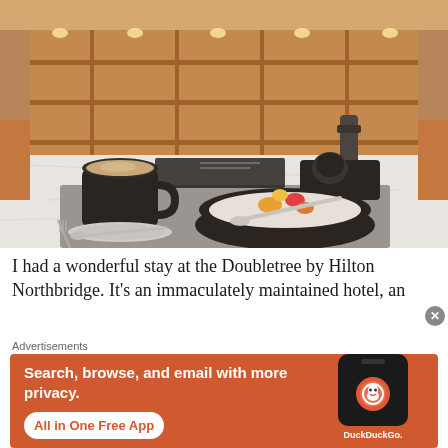[Figure (photo): Restaurant table with a black mug of coffee on a saucer, a dark bowl of porridge/chia pudding topped with colorful fruit pieces and a spoon, set on a gray woven placemat on a marble table. Background shows warm wooden booth seating with lit shelving units.]
I had a wonderful stay at the Doubletree by Hilton Northbridge. It's an immaculately maintained hotel, an
[Figure (screenshot): DuckDuckGo advertisement. Orange background with text 'Search, browse, and email with more privacy. All in One Free App' on the left, and a smartphone mockup showing the DuckDuckGo app with logo and 'DuckDuckGo.' text on the right.]